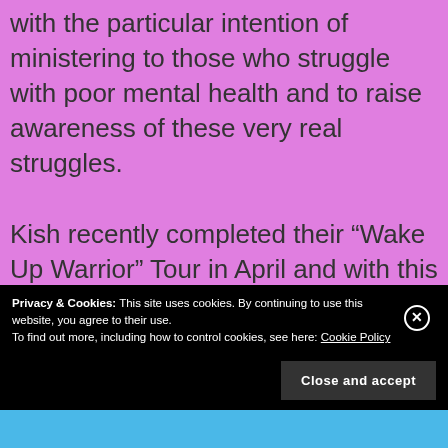with the particular intention of ministering to those who struggle with poor mental health and to raise awareness of these very real struggles.

Kish recently completed their “Wake Up Warrior” Tour in April and with this they marked their debut appearance in Europe. On this tour they worked alongside recurring Top 10 UK Christian
Privacy & Cookies: This site uses cookies. By continuing to use this website, you agree to their use.
To find out more, including how to control cookies, see here: Cookie Policy